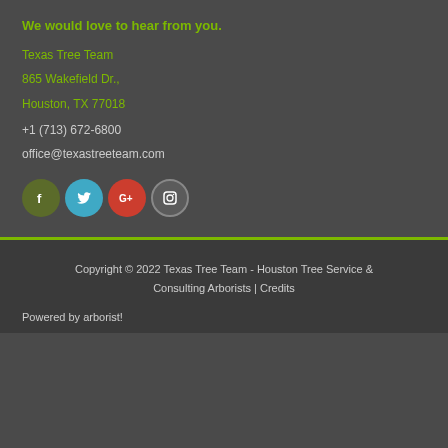We would love to hear from you.
Texas Tree Team
865 Wakefield Dr.,
Houston, TX 77018
+1 (713) 672-6800
office@texastreeteam.com
[Figure (infographic): Row of four social media icon buttons: Facebook (green circle with F), Twitter (cyan circle with bird icon), Google+ (red circle with G+), Instagram (gray circle with camera icon)]
Copyright © 2022 Texas Tree Team - Houston Tree Service & Consulting Arborists | Credits
Powered by arborist!